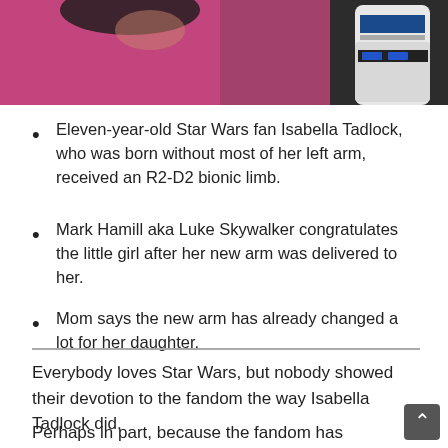[Figure (photo): Partial view of a photo showing a girl in a pink shirt next to what appears to be an R2-D2 robot figure against a dark background.]
Eleven-year-old Star Wars fan Isabella Tadlock, who was born without most of her left arm, received an R2-D2 bionic limb.
Mark Hamill aka Luke Skywalker congratulates the little girl after her new arm was delivered to her.
Mom says the new arm has already changed a lot for her daughter.
Everybody loves Star Wars, but nobody showed their devotion to the fandom the way Isabella Tadlock did.
Perhaps in part, because the fandom has gone out of their ways to help her to raise $14,000 to pay for an